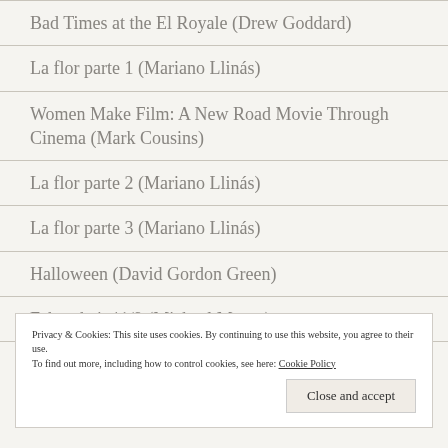Bad Times at the El Royale (Drew Goddard)
La flor parte 1 (Mariano Llinás)
Women Make Film: A New Road Movie Through Cinema (Mark Cousins)
La flor parte 2 (Mariano Llinás)
La flor parte 3 (Mariano Llinás)
Halloween (David Gordon Green)
Fahrenheit 11/9 (Michael Moore)
Dogman (Mateo Garrone)
Privacy & Cookies: This site uses cookies. By continuing to use this website, you agree to their use.
To find out more, including how to control cookies, see here: Cookie Policy